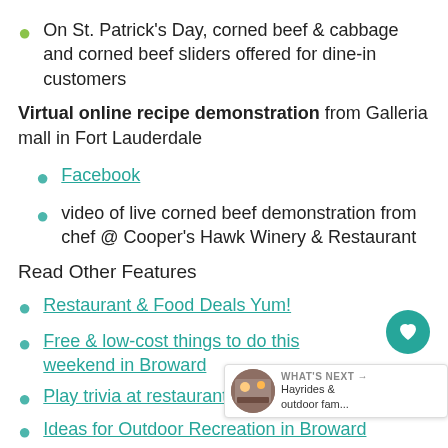On St. Patrick's Day, corned beef & cabbage and corned beef sliders offered for dine-in customers
Virtual online recipe demonstration from Galleria mall in Fort Lauderdale
Facebook
video of live corned beef demonstration from chef @ Cooper's Hawk Winery & Restaurant
Read Other Features
Restaurant & Food Deals Yum!
Free & low-cost things to do this weekend in Broward
Play trivia at restaurants & bars in Broward
Ideas for Outdoor Recreation in Broward